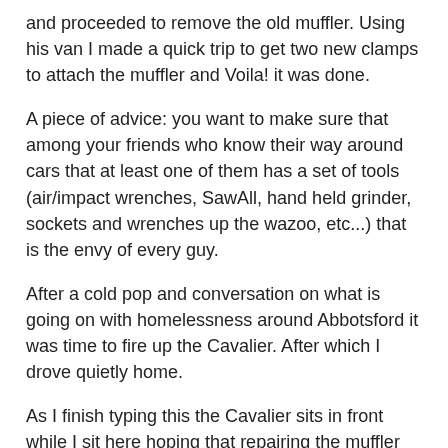and proceeded to remove the old muffler. Using his van I made a quick trip to get two new clamps to attach the muffler and Voila! it was done.
A piece of advice: you want to make sure that among your friends who know their way around cars that at least one of them has a set of tools (air/impact wrenches, SawAll, hand held grinder, sockets and wrenches up the wazoo, etc...) that is the envy of every guy.
After a cold pop and conversation on what is going on with homelessness around Abbotsford it was time to fire up the Cavalier. After which I drove quietly home.
As I finish typing this the Cavalier sits in front while I sit here hoping that repairing the muffler does not cause some other domino to fall; that the Universe is through testing or playing with me vis-à-vis the Cavalier and that this is the end of the Saga of Repairs and Headaches.